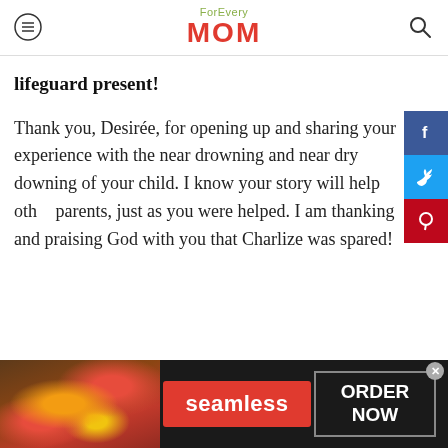For Every MOM
lifeguard present!
Thank you, Desirée, for opening up and sharing your experience with the near drowning and near dry downing of your child. I know your story will help other parents, just as you were helped. I am thanking and praising God with you that Charlize was spared!
[Figure (screenshot): Advertisement banner for Seamless food delivery with pizza image on left, Seamless red button in center, and ORDER NOW button on right]